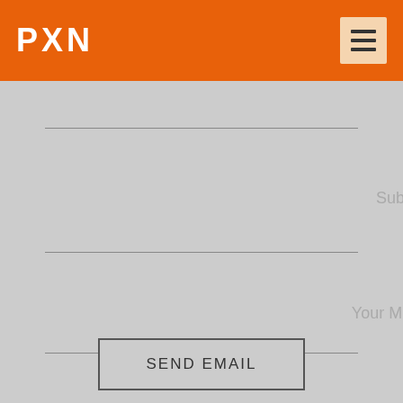PXN
Subject
Your Message
SEND EMAIL